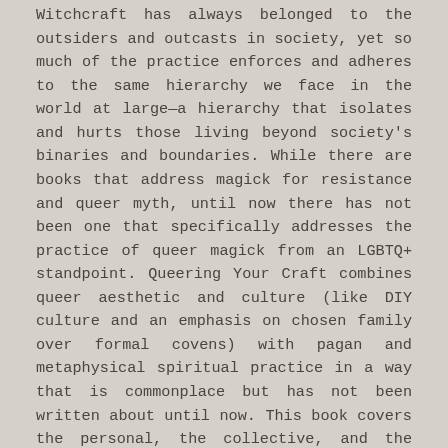Witchcraft has always belonged to the outsiders and outcasts in society, yet so much of the practice enforces and adheres to the same hierarchy we face in the world at large—a hierarchy that isolates and hurts those living beyond society's binaries and boundaries. While there are books that address magick for resistance and queer myth, until now there has not been one that specifically addresses the practice of queer magick from an LGBTQ+ standpoint. Queering Your Craft combines queer aesthetic and culture (like DIY culture and an emphasis on chosen family over formal covens) with pagan and metaphysical spiritual practice in a way that is commonplace but has not been written about until now. This book covers the personal, the collective, and the political, and how deeply intertwined all three are in a magickal practice for those who are LGBTQ+.
In this introduction to witchcraft, Snow presents why/how each concept is important to a queer craft, or how to approach it from a queer mindset. For example, conventional prayer words, and symbols have always